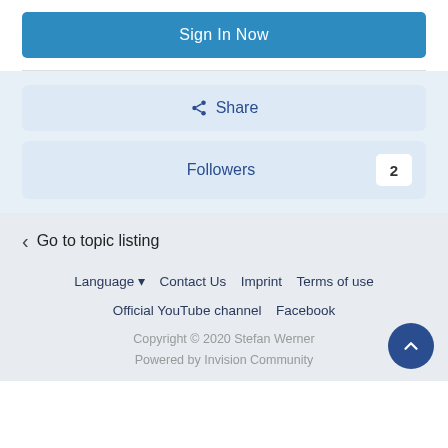Sign In Now
Share
Followers 2
Go to topic listing
Language ▾  Contact Us  Imprint  Terms of use  Official YouTube channel  Facebook  Copyright © 2020 Stefan Werner  Powered by Invision Community